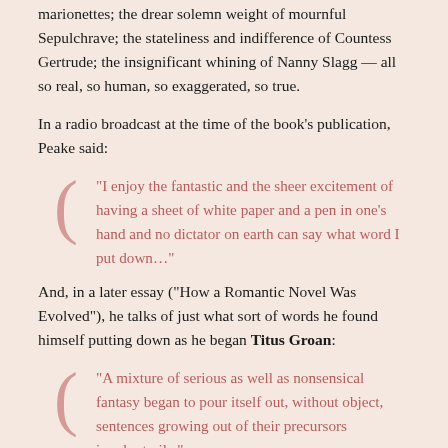marionettes; the drear solemn weight of mournful Sepulchrave; the stateliness and indifference of Countess Gertrude; the insignificant whining of Nanny Slagg — all so real, so human, so exaggerated, so true.
In a radio broadcast at the time of the book’s publication, Peake said:
“I enjoy the fantastic and the sheer excitement of having a sheet of white paper and a pen in one’s hand and no dictator on earth can say what word I put down…”
And, in a later essay (“How a Romantic Novel Was Evolved”), he talks of just what sort of words he found himself putting down as he began Titus Groan:
“A mixture of serious as well as nonsensical fantasy began to pour itself out, without object, sentences growing out of their precursors involuntarily.”